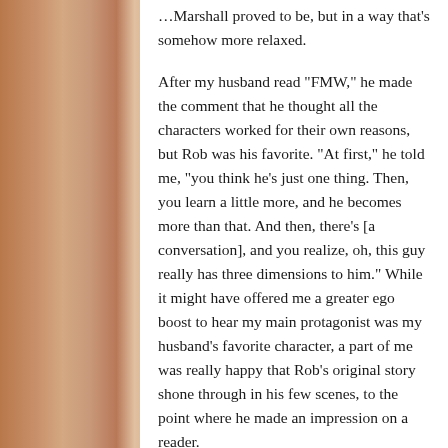…Marshall proved to be, but in a way that's somehow more relaxed.
After my husband read “FMW,” he made the comment that he thought all the characters worked for their own reasons, but Rob was his favorite. “At first,” he told me, “you think he’s just one thing. Then, you learn a little more, and he becomes more than that. And then, there’s [a conversation], and you realize, oh, this guy really has three dimensions to him.” While it might have offered me a greater ego boost to hear my main protagonist was my husband’s favorite character, a part of me was really happy that Rob’s original story shone through in his few scenes, to the point where he made an impression on a reader.
A moment of weakness led to this six-pager (it clocks in at around 2,900 words), which I wrote over three commuter train rides and a lunch hour.